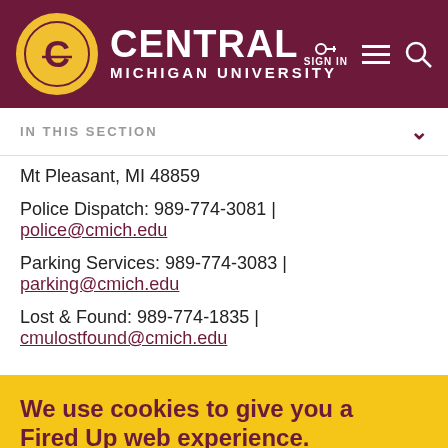Central Michigan University
IN THIS SECTION
Mt Pleasant, MI 48859
Police Dispatch: 989-774-3081 | police@cmich.edu
Parking Services: 989-774-3083 | parking@cmich.edu
Lost & Found: 989-774-1835 | cmulostfound@cmich.edu
We use cookies to give you a Fired Up web experience.
By continuing to use the site, you are agreeing to our use of cookies. Privacy Policy.